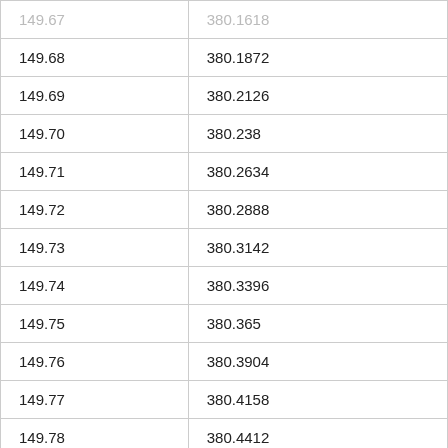| 149.67 | 380.1618 |
| 149.68 | 380.1872 |
| 149.69 | 380.2126 |
| 149.70 | 380.238 |
| 149.71 | 380.2634 |
| 149.72 | 380.2888 |
| 149.73 | 380.3142 |
| 149.74 | 380.3396 |
| 149.75 | 380.365 |
| 149.76 | 380.3904 |
| 149.77 | 380.4158 |
| 149.78 | 380.4412 |
| 149.79 | 380.4666 |
| 149.80 | 380.492 |
| 149.81 | 380.5174 |